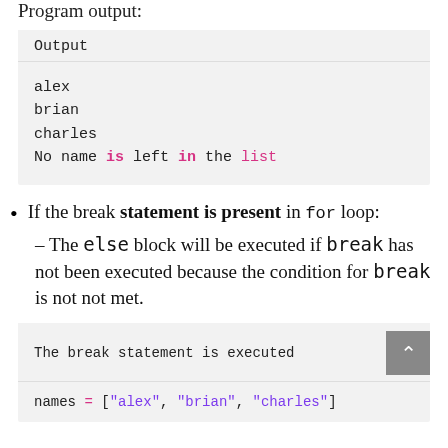Program output:
[Figure (screenshot): Code output block showing: Output header, then lines: alex, brian, charles, No name is left in the list (with 'is', 'in', 'list' highlighted in pink)]
If the break statement is present in for loop:
– The else block will be executed if break has not been executed because the condition for break is not not met.
[Figure (screenshot): Code block showing: header 'The break statement is executed' with scroll-up button, then: names = ["alex", "brian", "charles"]]